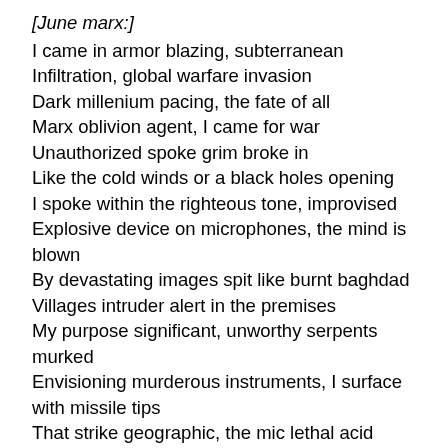[June marx:]
I came in armor blazing, subterranean
Infiltration, global warfare invasion
Dark millenium pacing, the fate of all
Marx oblivion agent, I came for war
Unauthorized spoke grim broke in
Like the cold winds or a black holes opening
I spoke within the righteous tone, improvised
Explosive device on microphones, the mind is blown
By devastating images spit like burnt baghdad
Villages intruder alert in the premises
My purpose significant, unworthy serpents murked
Envisioning murderous instruments, I surface with missile tips
That strike geographic, the mic lethal acid
I write cerebral madness, medieval axes
By raising the weapons born from illegal tactics
Evading deception from these deceitful bastards
I speak a passage my brain module like slave
Gospels slain apostles, decaying fossils